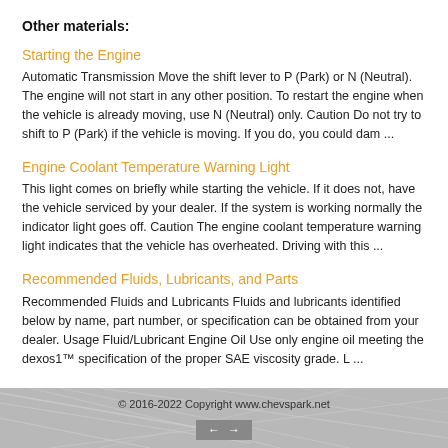Other materials:
Starting the Engine
Automatic Transmission Move the shift lever to P (Park) or N (Neutral). The engine will not start in any other position. To restart the engine when the vehicle is already moving, use N (Neutral) only. Caution Do not try to shift to P (Park) if the vehicle is moving. If you do, you could dam ...
Engine Coolant Temperature Warning Light
This light comes on briefly while starting the vehicle. If it does not, have the vehicle serviced by your dealer. If the system is working normally the indicator light goes off. Caution The engine coolant temperature warning light indicates that the vehicle has overheated. Driving with this ...
Recommended Fluids, Lubricants, and Parts
Recommended Fluids and Lubricants Fluids and lubricants identified below by name, part number, or specification can be obtained from your dealer. Usage Fluid/Lubricant Engine Oil Use only engine oil meeting the dexos1™ specification of the proper SAE viscosity grade. L ...
© 2016-2022 Copyright www.chevspark.net